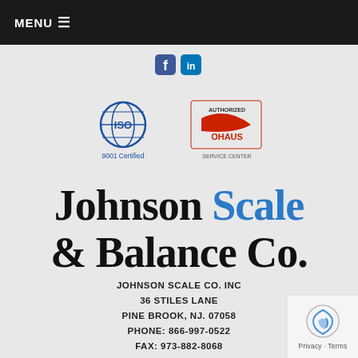MENU ☰
[Figure (logo): Social media icons (Facebook and LinkedIn) in blue]
[Figure (logo): ISO 9001 Certified logo (blue globe with ISO text) and OHAUS Authorized Service Center logo]
Johnson Scale & Balance Co.
JOHNSON SCALE CO. INC
36 STILES LANE
PINE BROOK, NJ. 07058
PHONE: 866-997-0522
FAX: 973-882-8068
[Figure (logo): reCAPTCHA privacy badge with Privacy - Terms text]